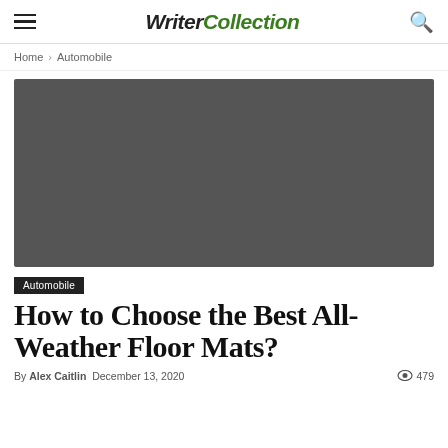WriterCollection
Home › Automobile
[Figure (photo): Large dark hero image placeholder for article about all-weather floor mats]
Automobile
How to Choose the Best All-Weather Floor Mats?
By Alex Caitlin   December 13, 2020   479